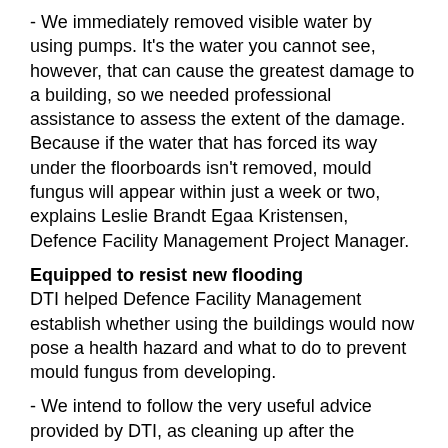- We immediately removed visible water by using pumps. It's the water you cannot see, however, that can cause the greatest damage to a building, so we needed professional assistance to assess the extent of the damage. Because if the water that has forced its way under the floorboards isn't removed, mould fungus will appear within just a week or two, explains Leslie Brandt Egaa Kristensen, Defence Facility Management Project Manager.
Equipped to resist new flooding
DTI helped Defence Facility Management establish whether using the buildings would now pose a health hazard and what to do to prevent mould fungus from developing.
- We intend to follow the very useful advice provided by DTI, as cleaning up after the damage is going to be a gigantic job. We need to improve the interior of the buildings and optimise their drains and drainage so we can re-occupy them, concludes Leslie Brandt Egaa Kristensen.
Facts
A comprehensive and independent mapping of the extent of a mould fungus attack in a building requires knowledge about both building technology and microbiology. We take the necessary samples and analyse them in our laboratory. This gives us the independent and technically correct basis for assessing